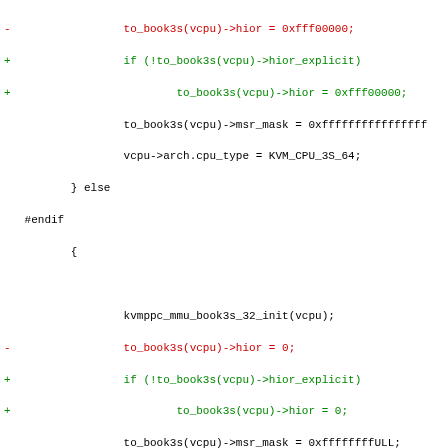[Figure (screenshot): A code diff showing changes to a C source file related to KVM book3s CPU initialization and patch_dcbz function. Red lines (prefixed with -) show removed code, green lines (prefixed with +) show added code. Changes include wrapping hior assignments in hior_explicit checks and replacing kmap_atomic with KM_USER0 argument with just kmap_atomic(hpage).]